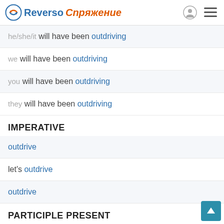Reverso Спряжение
he/she/it will have been outdriving
we will have been outdriving
you will have been outdriving
they will have been outdriving
IMPERATIVE
outdrive
let's outdrive
outdrive
PARTICIPLE PRESENT